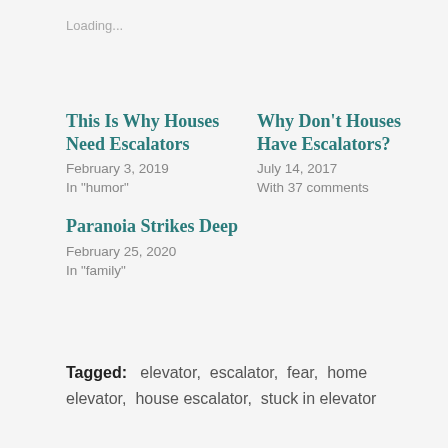Loading...
This Is Why Houses Need Escalators
February 3, 2019
In "humor"
Why Don't Houses Have Escalators?
July 14, 2017
With 37 comments
Paranoia Strikes Deep
February 25, 2020
In "family"
Tagged:   elevator,  escalator,  fear,  home elevator,  house escalator,  stuck in elevator